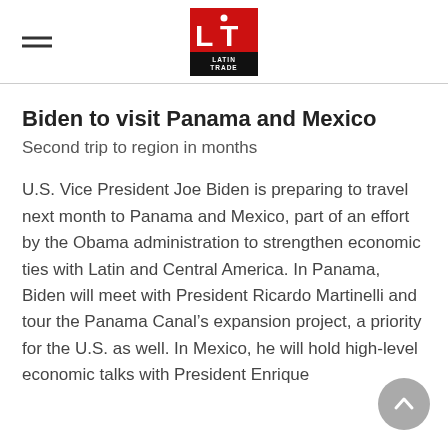Latin Trade (logo)
Biden to visit Panama and Mexico
Second trip to region in months
U.S. Vice President Joe Biden is preparing to travel next month to Panama and Mexico, part of an effort by the Obama administration to strengthen economic ties with Latin and Central America. In Panama, Biden will meet with President Ricardo Martinelli and tour the Panama Canal’s expansion project, a priority for the U.S. as well. In Mexico, he will hold high-level economic talks with President Enrique